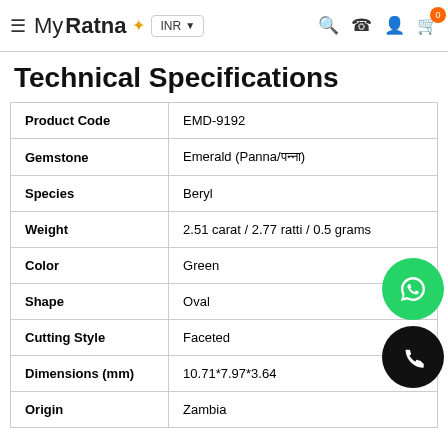MyRatna — INR — Search, Phone, Account, Cart (0)
Technical Specifications
|  |  |
| --- | --- |
| Product Code | EMD-9192 |
| Gemstone | Emerald (Panna/पन्ना) |
| Species | Beryl |
| Weight | 2.51 carat / 2.77 ratti / 0.5 grams |
| Color | Green |
| Shape | Oval |
| Cutting Style | Faceted |
| Dimensions (mm) | 10.71*7.97*3.64 |
| Origin | Zambia |